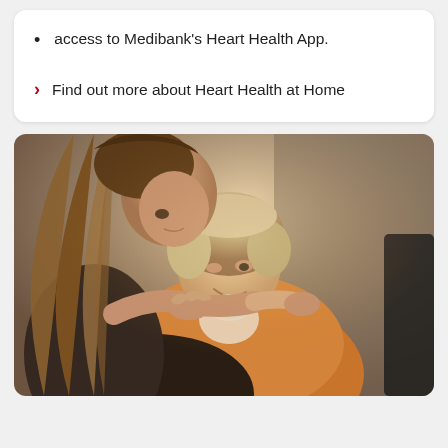access to Medibank's Heart Health App.
Find out more about Heart Health at Home
[Figure (photo): A young woman with long hair leaning over an older woman with short blonde hair, placing her hands on the older woman's shoulders in a caring gesture. The older woman is smiling. Warm, soft lighting.]